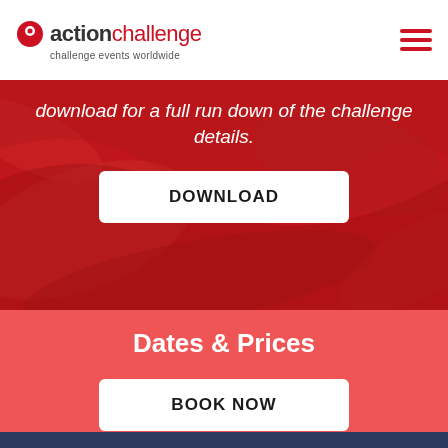[Figure (logo): Action Challenge logo with red circle/pin icon, 'action' in dark bold and 'challenge' in red, tagline 'challenge events worldwide']
download for a full run down of the challenge details.
DOWNLOAD
Dates & Prices
BOOK NOW